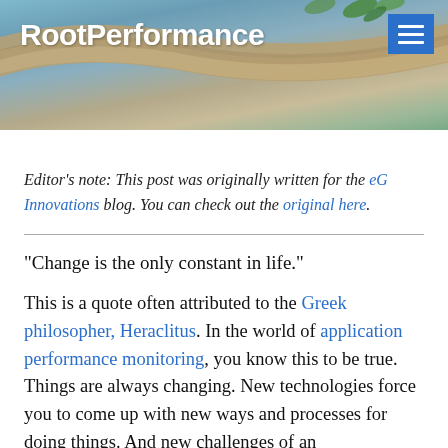[Figure (photo): Header banner photo showing a driftwood branch with green leaves against a blue-grey water/sky background. Site logo 'RootPerformance' in white bold text on left, blue hamburger menu icon on right.]
Editor's note: This post was originally written for the eG Innovations blog. You can check out the original here.
“Change is the only constant in life.”
This is a quote often attributed to the Greek philosopher, Heraclitus. In the world of application performance monitoring, you know this to be true. Things are always changing. New technologies force you to come up with new ways and processes for doing things. And new challenges of an unprecedented scale…